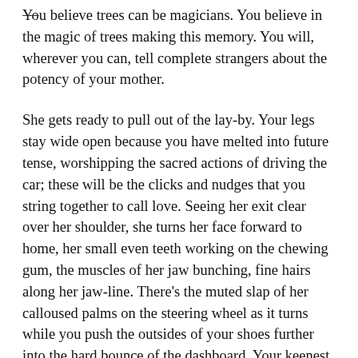you believe trees can be magicians. You believe in the magic of trees making this memory. You will, wherever you can, tell complete strangers about the potency of your mother.
She gets ready to pull out of the lay-by. Your legs stay wide open because you have melted into future tense, worshipping the sacred actions of driving the car; these will be the clicks and nudges that you string together to call love. Seeing her exit clear over her shoulder, she turns her face forward to home, her small even teeth working on the chewing gum, the muscles of her jaw bunching, fine hairs along her jaw-line. There’s the muted slap of her calloused palms on the steering wheel as it turns while you push the outsides of your shoes further into the hard bounce of the dashboard. Your keenest happiness. One last look at her. The stalky tendon sinking back into